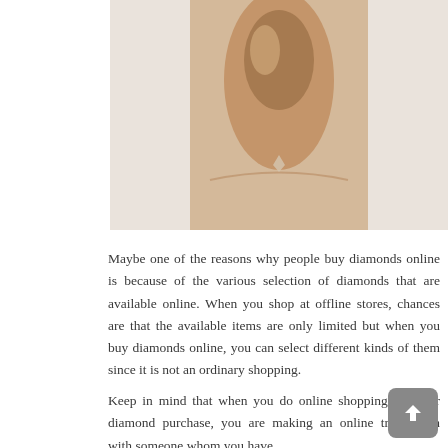[Figure (photo): Close-up photo of a person's neck/collarbone area wearing what appears to be a diamond or gem pendant, warm beige/tan skin tones against a light background]
Maybe one of the reasons why people buy diamonds online is because of the various selection of diamonds that are available online. When you shop at offline stores, chances are that the available items are only limited but when you buy diamonds online, you can select different kinds of them since it is not an ordinary shopping.
Keep in mind that when you do online shopping for your diamond purchase, you are making an online transaction with someone whom you have